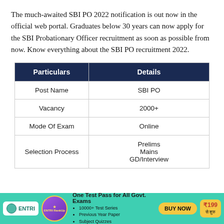The much-awaited SBI PO 2022 notification is out now in the official web portal. Graduates below 30 years can now apply for the SBI Probationary Officer recruitment as soon as possible from now. Know everything about the SBI PO recruitment 2022.
| Particulars | Details |
| --- | --- |
| Post Name | SBI PO |
| Vacancy | 2000+ |
| Mode Of Exam | Online |
| Selection Process | Prelims
Mains
GD/Interview |
[Figure (infographic): ENTRI advertisement banner: One Test Pass for All Govt. Exams. Features ENTRI RankUp logo, bullet points listing 10000+ Test Series, Previous Year Paper, Subject Quizzes, a BUY NOW button, and price ₹199 से शुरु.]